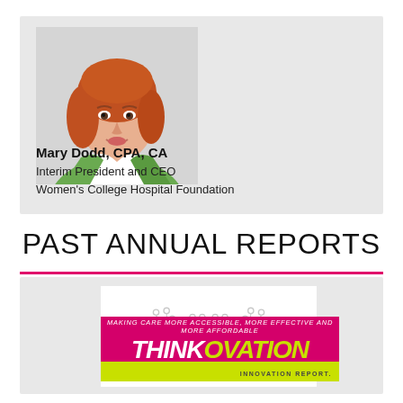[Figure (photo): Headshot photo of Mary Dodd, a woman with short auburn/red hair wearing a green blazer, smiling, on a light grey background]
Mary Dodd, CPA, CA
Interim President and CEO
Women's College Hospital Foundation
PAST ANNUAL REPORTS
[Figure (logo): THINKOVATION innovation report logo with circuit board tree graphic and pink/yellow branding. Text reads: MAKING CARE MORE ACCESSIBLE, MORE EFFECTIVE AND MORE AFFORDABLE / THINKOVATION / INNOVATION REPORT]